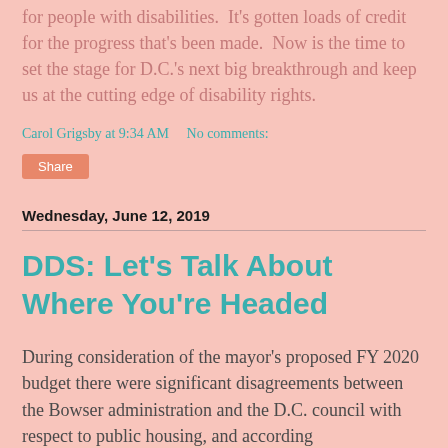for people with disabilities.  It's gotten loads of credit for the progress that's been made.  Now is the time to set the stage for D.C.'s next big breakthrough and keep us at the cutting edge of disability rights.
Carol Grigsby at 9:34 AM     No comments:
Share
Wednesday, June 12, 2019
DDS: Let's Talk About Where You're Headed
During consideration of the mayor's proposed FY 2020 budget there were significant disagreements between the Bowser administration and the D.C. council with respect to public housing, and according